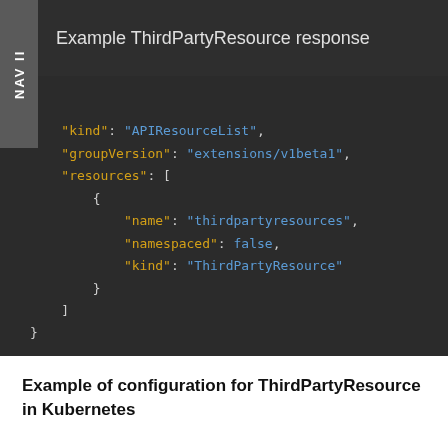NAV II
Example ThirdPartyResource response
{
    "kind": "APIResourceList",
    "groupVersion": "extensions/v1beta1",
    "resources": [
        {
            "name": "thirdpartyresources",
            "namespaced": false,
            "kind": "ThirdPartyResource"
        }
    ]
}
Example of configuration for ThirdPartyResource in Kubernetes